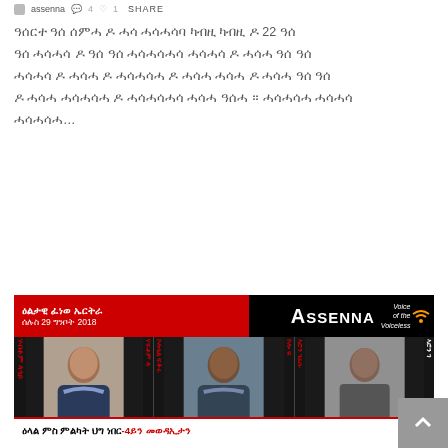assenna   4   1   SHARE
ዓሰርተ ዓሰ ሰምሓ ዶ ሓሳ ሓሳሓሳባ ካብዚ ካብዚ ዶ 22 ዓሰ ዓሰ ሓሳሓሳ ዶ ዓሰ ዓሰ ሓሳሓሳሓሳ ሓሳሓሳ ዶ ሓሳሓ ዓሰ ዓሰ ሓሳሓሳ ዶ ሓሳሓ ዶ ሓሳሓሳሓ ዶ ሓሳሓ ሓሳሓ ዶ ሓሳሓ ዓሰ ዓሰ ዶ ሓሳሓ ሓሳሓሳሓ ዶ ሓሳሓሳሓሳ ሓሳሓ ዓሰሓ ። ሓሳሓሳሓ ሓሳሓሳ ሓሳሓሳሓ…
READ MORE
[Figure (photo): Assenna radio broadcast banner showing 'ዕልታዊ ፈነወ ኤርትራ' (Daily Broadcast Eritrea), date ሰሉስ 29 ግንቦት 2018, with three male portraits and bottom text 'ዕላል ምስ ምልካት ህግ ነበር-4ይን መወዳኢታን']